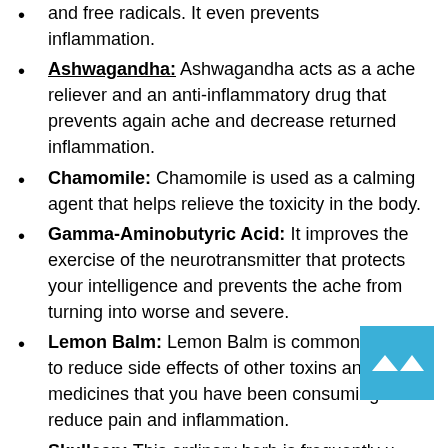and free radicals. It even prevents inflammation.
Ashwagandha: Ashwagandha acts as a ache reliever and an anti-inflammatory drug that prevents again ache and decrease returned inflammation.
Chamomile: Chamomile is used as a calming agent that helps relieve the toxicity in the body.
Gamma-Aminobutyric Acid: It improves the exercise of the neurotransmitter that protects your intelligence and prevents the ache from turning into worse and severe.
Lemon Balm: Lemon Balm is commonly used to reduce side effects of other toxins and medicines that you have been consuming to reduce pain and inflammation.
Skullcap: This ordinary herb is frequently used as a medication to deal with persistent ache and